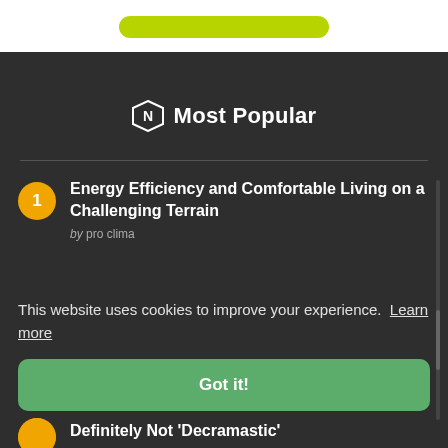[Figure (other): Green pill/button bar at top of white header area]
Most Popular
1 Energy Efficiency and Comfortable Living on a Challenging Terrain by pro clima
This website uses cookies to improve your experience. Learn more
Got it!
Definitely Not 'Decramastic'